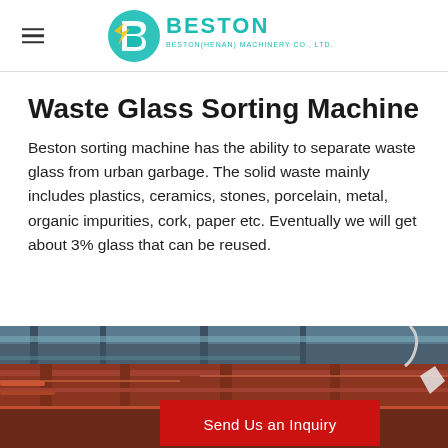BESTON – BESTON(HENAN) MACHINERY CO., LTD.
Waste Glass Sorting Machine
Beston sorting machine has the ability to separate waste glass from urban garbage. The solid waste mainly includes plastics, ceramics, stones, porcelain, metal, organic impurities, cork, paper etc. Eventually we will get about 3% glass that can be reused.
[Figure (photo): Factory interior showing industrial machinery with red metal structures and a red inquiry button overlay reading 'Send Us an Inquiry']